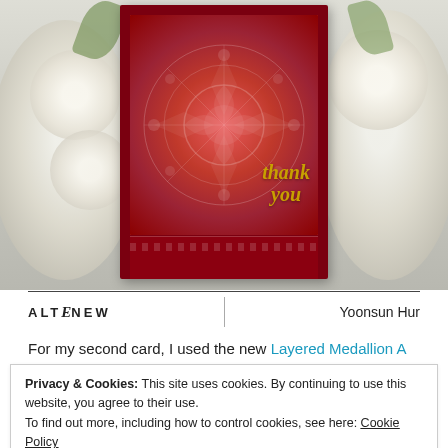[Figure (photo): A handmade greeting card with a red mandala/medallion stencil design and gold 'thank you' script, displayed against a background of white roses on a grey surface. The card has a deep red outer border and a patterned red interior with white stencil overlay.]
ALTENEW | Yoonsun Hur
For my second card, I used the new Layered Medallion A
Privacy & Cookies: This site uses cookies. By continuing to use this website, you agree to their use.
To find out more, including how to control cookies, see here: Cookie Policy
Close and accept